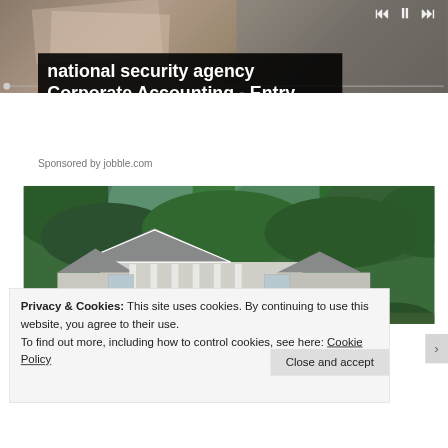[Figure (screenshot): Website screenshot showing a job advertisement for 'national security agency Corporate Accounting - Entry Level Jobs in Ashburn...' sponsored by jobble.com, overlaid on a blurred desk/office background image with media player controls visible at the top right.]
Sponsored by jobble.com
[Figure (photo): Photo of a large white house with columns and a peaked roof gable, surrounded by lush green trees.]
Privacy & Cookies: This site uses cookies. By continuing to use this website, you agree to their use.
To find out more, including how to control cookies, see here: Cookie Policy
Close and accept